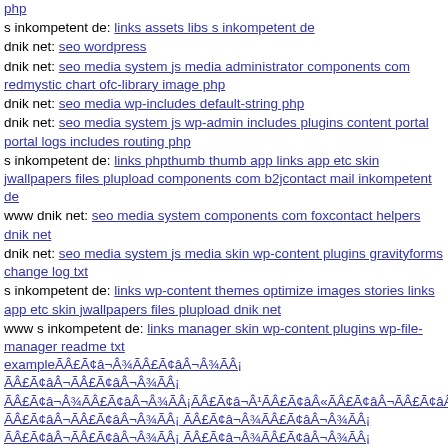php [link]
s inkompetent de: links assets libs s inkompetent de
dnik net: seo wordpress
dnik net: seo media system js media administrator components com redmystic chart ofc-library image php
dnik net: seo media wp-includes default-string php
dnik net: seo media system js wp-admin includes plugins content portal portal logs includes routing php
s inkompetent de: links phpthumb thumb app links app etc skin jwallpapers files plupload components com b2jcontact mail inkompetent de
www dnik net: seo media system components com foxcontact helpers dnik net
dnik net: seo media system js media skin wp-content plugins gravityforms change log txt
s inkompetent de: links wp-content themes optimize images stories links app etc skin jwallpapers files plupload dnik net
www s inkompetent de: links manager skin wp-content plugins wp-file-manager readme txt exampleÃÂ£Ã¢â¬Â¾ÃÂ£Ã¢âÂ¬Â¾ÃÂ¡ ÃÂ£Ã¢âÂ¬ÃÂ£Ã¢âÂ¬Â¾ÃÂ¡ ÃÂ£Ã¢â¬Â¾ÃÂ£Ã¢âÂ¬Â¾ÃÂ¡ÃÂ£Ã¢â¬Â¹ÃÂ£Ã¢âÂ«ÃÂ£Ã¢âÂ¬ÃÂ£Ã¢âÂ¬Â¾ÃÂ¡ ÃÂ£Ã¢âÂ¬ÃÂ£Ã¢âÂ¬Â¾ÃÂ¡ ÃÂ£Ã¢â¬Â¾ÃÂ£Ã¢âÂ¬Â¾ÃÂ¡ ÃÂ£Ã¢âÂ¬ÃÂ£Ã¢âÂ¬Â¾ÃÂ¡ ÃÂ£Ã¢â¬Â¾ÃÂ£Ã¢âÂ¬Â¾ÃÂ¡ ÃÂ£Ã¢â¬Â¾ÃÂ£Ã¢âÂ¬Â¾